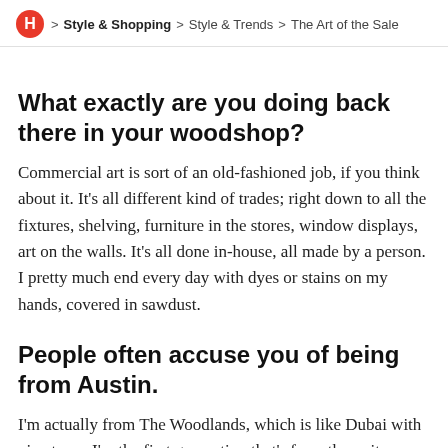H > Style & Shopping > Style & Trends > The Art of the Sale
What exactly are you doing back there in your woodshop?
Commercial art is sort of an old-fashioned job, if you think about it. It’s all different kind of trades; right down to all the fixtures, shelving, furniture in the stores, window displays, art on the walls. It’s all done in-house, all made by a person. I pretty much end every day with dyes or stains on my hands, covered in sawdust.
People often accuse you of being from Austin.
I’m actually from The Woodlands, which is like Dubai with pine trees. I’m the first generation that’s from there; it was established in 1973 and I was born in ‘84. It’s pointless for me to say, “I remember when there was